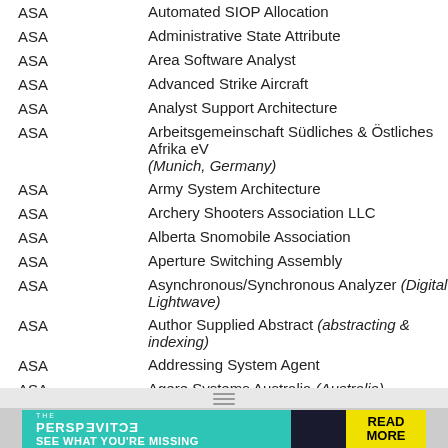ASA    Automated SIOP Allocation
ASA    Administrative State Attribute
ASA    Area Software Analyst
ASA    Advanced Strike Aircraft
ASA    Analyst Support Architecture
ASA    Arbeitsgemeinschaft Südliches & Östliches Afrika eV (Munich, Germany)
ASA    Army System Architecture
ASA    Archery Shooters Association LLC
ASA    Alberta Snomobile Association
ASA    Aperture Switching Assembly
ASA    Asynchronous/Synchronous Analyzer (Digital Lightwave)
ASA    Author Supplied Abstract (abstracting & indexing)
ASA    Addressing System Agent
ASA    Agere Systems Australia (Australia)
ASA    Automatic Switchboard Attendant